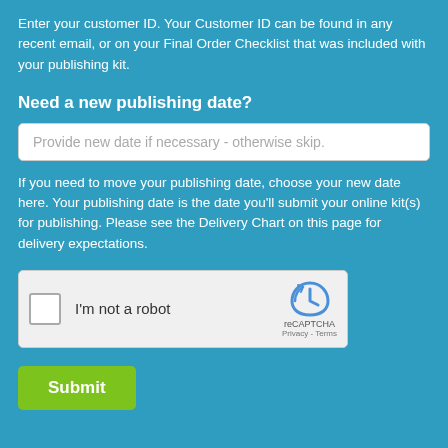Enter your customer ID. Your Customer ID can be found in any recent email, or on your Final Order Checklist that was included with your publishing kit.
Need a new publishing date?
[Figure (screenshot): Text input field with placeholder text: Provide new date if necessary - otherwise skip.]
If you need to move your publishing date, choose your new date here. Your publishing date is the date you'll submit your online kit(s) for publishing. Please see the Delivery Chart on this page for delivery expectations.
[Figure (screenshot): reCAPTCHA widget with checkbox labeled 'I'm not a robot', reCAPTCHA logo, and Privacy - Terms links.]
[Figure (screenshot): Submit button in green.]